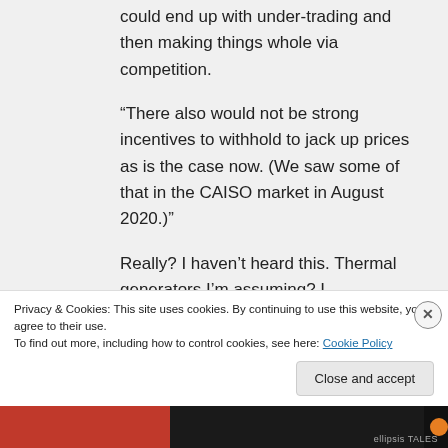could end up with under-trading and then making things whole via competition.
“There also would not be strong incentives to withhold to jack up prices as is the case now. (We saw some of that in the CAISO market in August 2020.)”
Really? I haven’t heard this. Thermal generators I’m assuming? I
Privacy & Cookies: This site uses cookies. By continuing to use this website, you agree to their use.
To find out more, including how to control cookies, see here: Cookie Policy